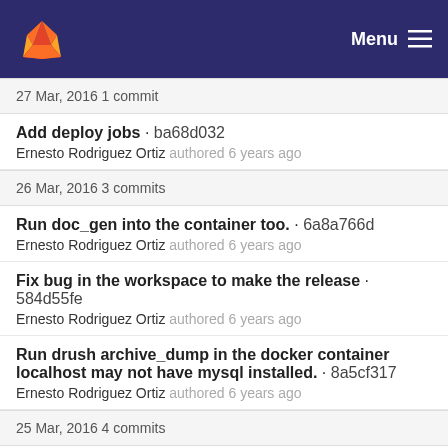GitLab · Menu
27 Mar, 2016 1 commit
Add deploy jobs · ba68d032
Ernesto Rodriguez Ortiz authored 6 years ago
26 Mar, 2016 3 commits
Run doc_gen into the container too. · 6a8a766d
Ernesto Rodriguez Ortiz authored 6 years ago
Fix bug in the workspace to make the release · 584d55fe
Ernesto Rodriguez Ortiz authored 6 years ago
Run drush archive_dump in the docker container localhost may not have mysql installed. · 8a5cf317
Ernesto Rodriguez Ortiz authored 6 years ago
25 Mar, 2016 4 commits
Update the variable env.container_ip when the container